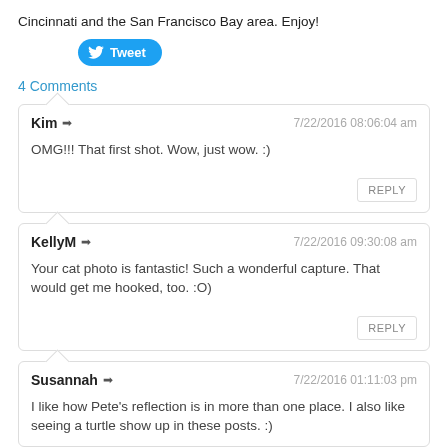Cincinnati and the San Francisco Bay area. Enjoy!
[Figure (other): Twitter Tweet button (blue rounded button with bird icon and 'Tweet' text)]
4 Comments
Kim ➜   7/22/2016 08:06:04 am
OMG!!! That first shot. Wow, just wow. :)
KellyM ➜   7/22/2016 09:30:08 am
Your cat photo is fantastic! Such a wonderful capture. That would get me hooked, too. :O)
Susannah ➜   7/22/2016 01:11:03 pm
I like how Pete's reflection is in more than one place. I also like seeing a turtle show up in these posts. :)